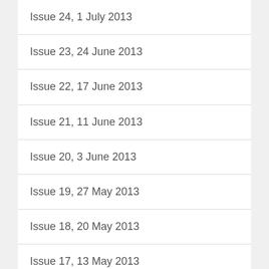Issue 24, 1 July 2013
Issue 23, 24 June 2013
Issue 22, 17 June 2013
Issue 21, 11 June 2013
Issue 20, 3 June 2013
Issue 19, 27 May 2013
Issue 18, 20 May 2013
Issue 17, 13 May 2013
Issue 16, 6 May 2013